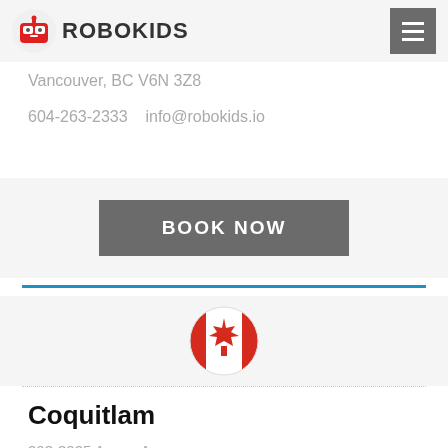ROBOKIDS
Vancouver, BC V6N 3Z8
604-263-2333   info@robokids.io
BOOK NOW
[Figure (illustration): Canadian flag circular icon]
Coquitlam
203-3025 Anson Ave
Coquitlam, BC V3B 2H6
604-944-4025   coquitlam@robokids.io